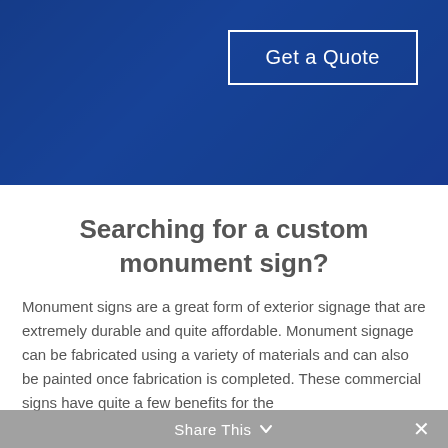[Figure (photo): Hero banner with blue-tinted background photo showing outdoor landscaping/monument sign area]
Get a Quote
Searching for a custom monument sign?
Monument signs are a great form of exterior signage that are extremely durable and quite affordable. Monument signage can be fabricated using a variety of materials and can also be painted once fabrication is completed. These commercial signs have quite a few benefits for the
Share This ˅  ✕